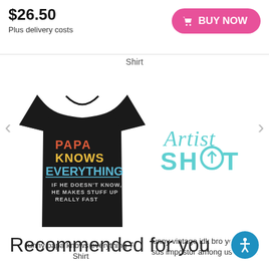$26.50
Plus delivery costs
BUY NOW
Shirt
[Figure (photo): Black t-shirt with colorful text reading PAPA KNOWS EVERYTHING if he doesn't know he makes stuff up really fast]
[Figure (logo): Artist Shot logo in teal/cyan script and bold text]
funny papa knows everything T-Shirt
funny vintage idk bro you kinda sus impostor among us T-Shirt
Recommended for you